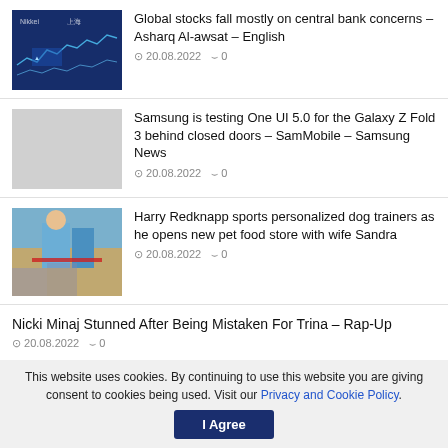[Figure (photo): Stock market display board with blue background and a person in mask]
Global stocks fall mostly on central bank concerns – Asharq Al-awsat – English
20.08.2022  0
[Figure (photo): Blank/light gray placeholder image]
Samsung is testing One UI 5.0 for the Galaxy Z Fold 3 behind closed doors – SamMobile – Samsung News
20.08.2022  0
[Figure (photo): People at outdoor event with red ribbon, man in blue shirt]
Harry Redknapp sports personalized dog trainers as he opens new pet food store with wife Sandra
20.08.2022  0
Nicki Minaj Stunned After Being Mistaken For Trina – Rap-Up
20.08.2022  0
This website uses cookies. By continuing to use this website you are giving consent to cookies being used. Visit our Privacy and Cookie Policy.